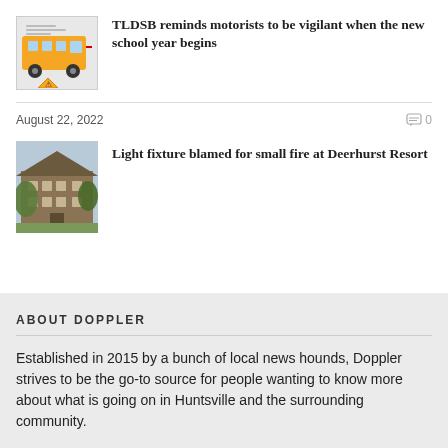[Figure (illustration): Thumbnail image showing a school bus with a warning triangle sign]
TLDSB reminds motorists to be vigilant when the new school year begins
August 22, 2022
0
[Figure (photo): Thumbnail photo of Deerhurst Resort building with trees]
Light fixture blamed for small fire at Deerhurst Resort
ABOUT DOPPLER
Established in 2015 by a bunch of local news hounds, Doppler strives to be the go-to source for people wanting to know more about what is going on in Huntsville and the surrounding community.